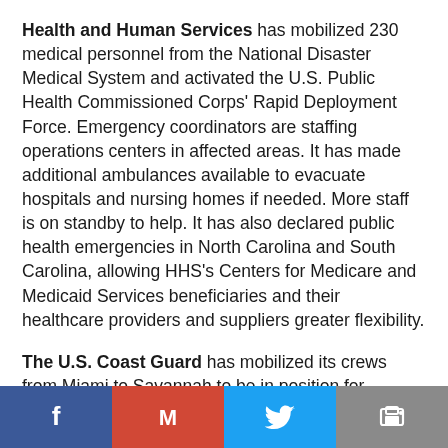Health and Human Services has mobilized 230 medical personnel from the National Disaster Medical System and activated the U.S. Public Health Commissioned Corps' Rapid Deployment Force. Emergency coordinators are staffing operations centers in affected areas. It has made additional ambulances available to evacuate hospitals and nursing homes if needed. More staff is on standby to help. It has also declared public health emergencies in North Carolina and South Carolina, allowing HHS's Centers for Medicare and Medicaid Services beneficiaries and their healthcare providers and suppliers greater flexibility.
The U.S. Coast Guard has mobilized its crews from Miami to Savannah to be in position for Hurricane Florence before the storm hit.
The U.S. Army Corps of Engineers has mobilized more than 200 people to help plan for debris removal and temporary power support. It is also monitoring dams in Virginia...